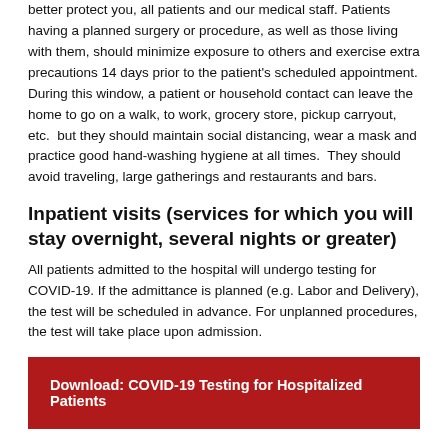better protect you, all patients and our medical staff. Patients having a planned surgery or procedure, as well as those living with them, should minimize exposure to others and exercise extra precautions 14 days prior to the patient's scheduled appointment. During this window, a patient or household contact can leave the home to go on a walk, to work, grocery store, pickup carryout, etc.  but they should maintain social distancing, wear a mask and practice good hand-washing hygiene at all times.  They should avoid traveling, large gatherings and restaurants and bars.
Inpatient visits (services for which you will stay overnight, several nights or greater)
All patients admitted to the hospital will undergo testing for COVID-19. If the admittance is planned (e.g. Labor and Delivery), the test will be scheduled in advance. For unplanned procedures, the test will take place upon admission.
Download: COVID-19 Testing for Hospitalized Patients
Outpatient visits (procedures, testing or surgeries for